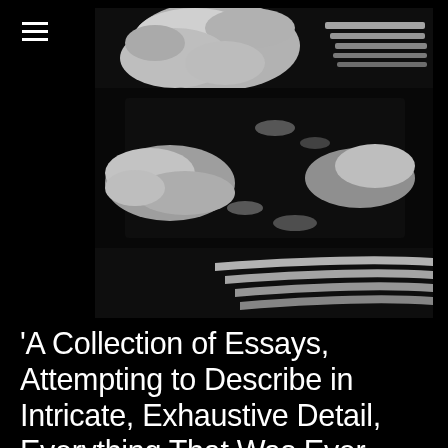[Figure (illustration): Abstract black and white artwork with white splashes, brushstrokes, and diagonal white stripe patterns on a dark background]
'A Collection of Essays, Attempting to Describe in Intricate, Exhaustive Detail, Everything That Was Ever Wrong with the World'